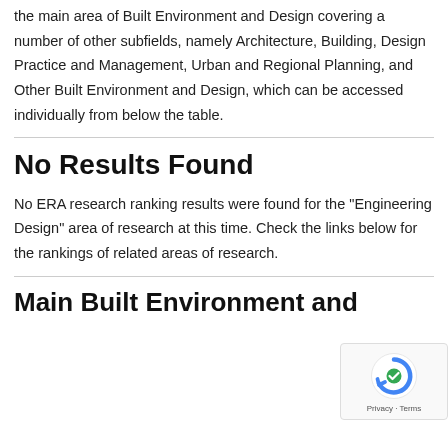the main area of Built Environment and Design covering a number of other subfields, namely Architecture, Building, Design Practice and Management, Urban and Regional Planning, and Other Built Environment and Design, which can be accessed individually from below the table.
No Results Found
No ERA research ranking results were found for the "Engineering Design" area of research at this time. Check the links below for the rankings of related areas of research.
Main Built Environment and